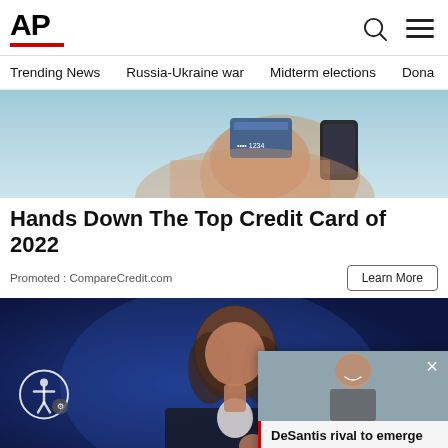[Figure (logo): AP (Associated Press) logo with red underline bar, search icon and hamburger menu icon]
Trending News | Russia-Ukraine war | Midterm elections | Dona...
[Figure (photo): Person holding a credit card and a smartphone against a teal background - advertisement image]
Hands Down The Top Credit Card of 2022
Promoted : CompareCredit.com
[Figure (photo): Woman in dark blazer speaking at what appears to be a political event, against a blue background. Accessibility icon visible in lower left.]
[Figure (screenshot): Video popup overlay showing a woman smiling, with red bar at top, X close button, and caption: DeSantis rival to emerge from high-stakes Florid...]